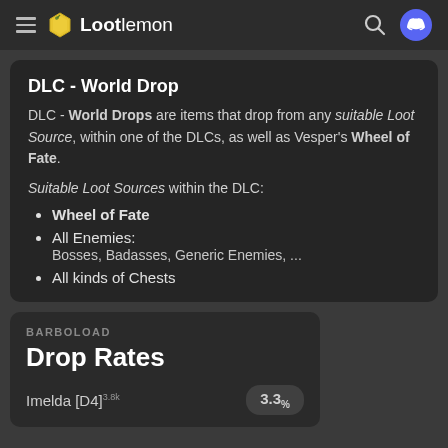Lootlemon
DLC - World Drop
DLC - World Drops are items that drop from any suitable Loot Source, within one of the DLCs, as well as Vesper's Wheel of Fate.
Suitable Loot Sources within the DLC:
Wheel of Fate
All Enemies:
Bosses, Badasses, Generic Enemies, ...
All kinds of Chests
BARBOLOAD
Drop Rates
Imelda [D4] 3.8k   3.3%